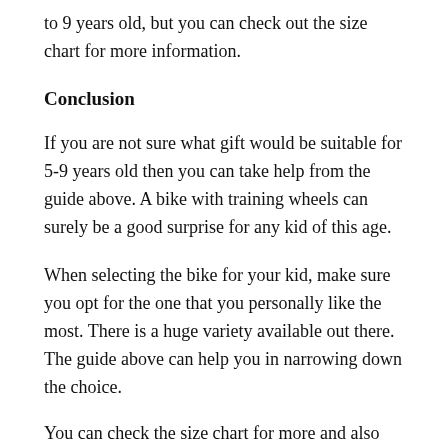to 9 years old, but you can check out the size chart for more information.
Conclusion
If you are not sure what gift would be suitable for 5-9 years old then you can take help from the guide above. A bike with training wheels can surely be a good surprise for any kid of this age.
When selecting the bike for your kid, make sure you opt for the one that you personally like the most. There is a huge variety available out there. The guide above can help you in narrowing down the choice.
You can check the size chart for more and also the...